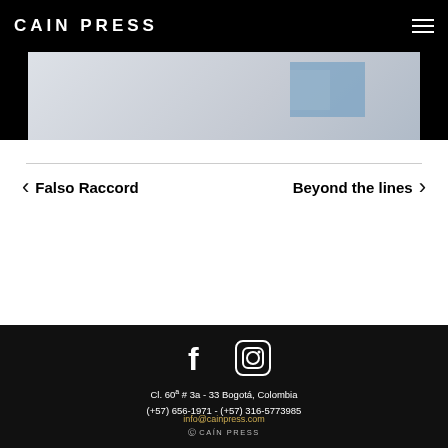CAIN PRESS
[Figure (photo): Partial view of a book or printed publication with blue accent, light gray background]
< Falso Raccord
Beyond the lines >
[Figure (illustration): Social media icons: Facebook (f) and Instagram (camera/circle icon)]
Cl. 60a # 3a - 33 Bogotá, Colombia
(+57) 656-1971 - (+57) 316-5773985
info@cainpress.com
© CAÍN PRESS